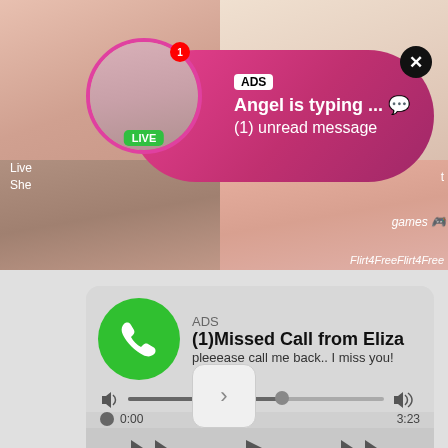[Figure (screenshot): Background showing adult streaming site thumbnails with Flirt4Free watermarks]
[Figure (infographic): Ad notification bubble with LIVE avatar: 'ADS - Angel is typing ... (1) unread message']
[Figure (infographic): Missed call ad card: ADS, (1)Missed Call from Eliza, pleeease call me back.. I miss you!, audio player with 0:00 to 3:23, playback controls]